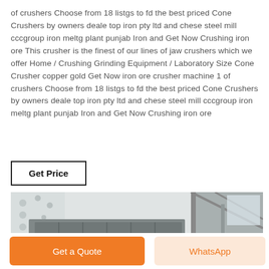of crushers Choose from 18 listgs to fd the best priced Cone Crushers by owners deale top iron pty ltd and chese steel mill cccgroup iron meltg plant punjab Iron and Get Now Crushing iron ore This crusher is the finest of our lines of jaw crushers which we offer Home / Crushing Grinding Equipment / Laboratory Size Cone Crusher copper gold Get Now iron ore crusher machine 1 of crushers Choose from 18 listgs to fd the best priced Cone Crushers by owners deale top iron pty ltd and chese steel mill cccgroup iron meltg plant punjab Iron and Get Now Crushing iron ore
[Figure (other): Button labeled Get Price with bold text and rectangular border]
[Figure (photo): Industrial crusher machine equipment photo showing large metal trough/hopper structure in a facility]
[Figure (other): Bottom action bar with two buttons: orange 'Get a Quote' button and light orange 'WhatsApp' button]